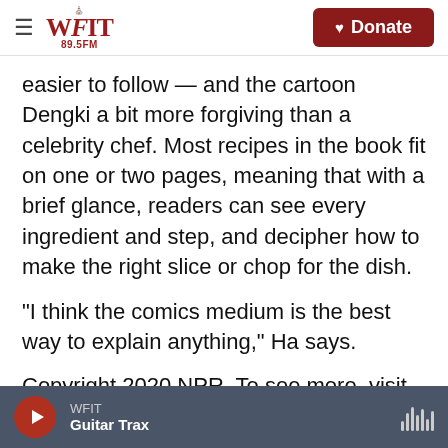WFIT 89.5FM | Donate
easier to follow — and the cartoon Dengki a bit more forgiving than a celebrity chef. Most recipes in the book fit on one or two pages, meaning that with a brief glance, readers can see every ingredient and step, and decipher how to make the right slice or chop for the dish.
"I think the comics medium is the best way to explain anything," Ha says.
Copyright 2020 NPR. To see more, visit https://www.npr.org.
WFIT | Guitar Trax